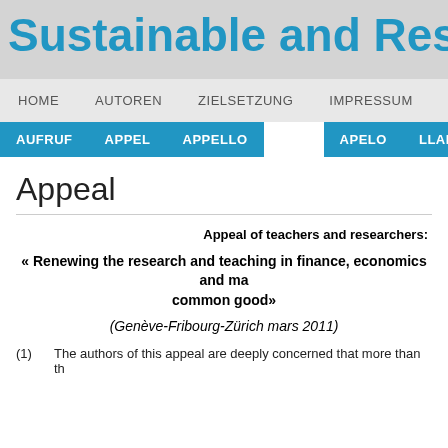Sustainable and Res
HOME   AUTOREN   ZIELSETZUNG   IMPRESSUM
AUFRUF   APPEL   APPELLO   APELO   LLAMAMIEN
Appeal
Appeal of teachers and researchers:
« Renewing the research and teaching in finance, economics and ma common good»
(Genève-Fribourg-Zürich mars 2011)
(1)   The authors of this appeal are deeply concerned that more than th